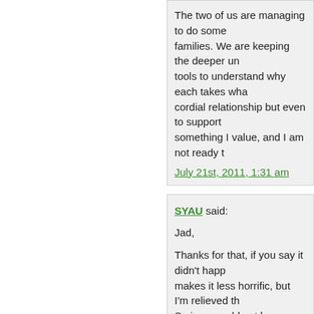The two of us are managing to do some... families. We are keeping the deeper un... tools to understand why each takes wha... cordial relationship but even to support... something I value, and I am not ready t...
July 21st, 2011, 1:31 am
SYAU said:
Jad,
Thanks for that, if you say it didn't happ... makes it less horrific, but I'm relieved th... Syrians would not be capable of such h... and witness it and not do anything.
I linked it because I have been so distur... four months, especially of the public han... corpses of the soldiers, it was just too m... graphic images in future. Apparently it w... webpages.
July 21st, 2011, 1:48 am
ALESCANDER said:
Ford's visit was to Hama not to Homs , i... prevented" a massacre in Hama . The c... force used, it should be an example to f...
The anonymous diplomat missed a fact...